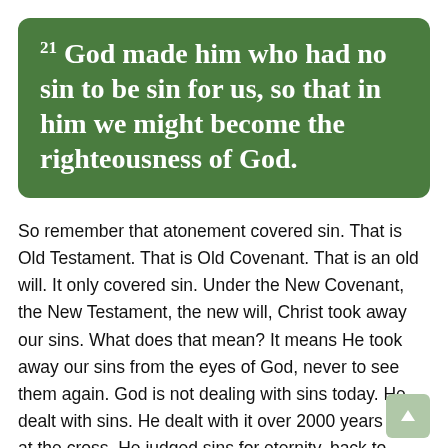21 God made him who had no sin to be sin for us, so that in him we might become the righteousness of God.
So remember that atonement covered sin. That is Old Testament. That is Old Covenant. That is an old will. It only covered sin. Under the New Covenant, the New Testament, the new will, Christ took away our sins. What does that mean? It means He took away our sins from the eyes of God, never to see them again. God is not dealing with sins today. He dealt with sins. He dealt with it over 2000 years ago at the cross. He judged sins for eternity, back to Adam and forward to eternity. The verdict was guilty. The punishment was death. Jesus took it all. Because He took it all, there is none left for us. That is precisely why the